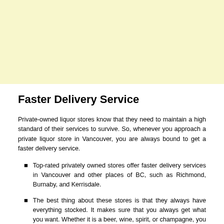[Figure (other): Light yellow/cream colored banner area at the top of the page]
Faster Delivery Service
Private-owned liquor stores know that they need to maintain a high standard of their services to survive. So, whenever you approach a private liquor store in Vancouver, you are always bound to get a faster delivery service.
Top-rated privately owned stores offer faster delivery services in Vancouver and other places of BC, such as Richmond, Burnaby, and Kerrisdale.
The best thing about these stores is that they always have everything stocked. It makes sure that you always get what you want. Whether it is a beer, wine, spirit, or champagne, you will not need to worry about it.